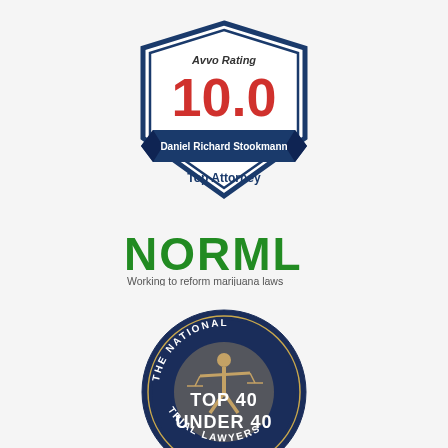[Figure (logo): Avvo Rating 10.0 badge for Daniel Richard Stookmann, Top Attorney — shield shape with dark blue border, red 10.0 rating, dark blue ribbon banner with name, white background]
[Figure (logo): NORML logo — green bold lettering 'NORML' with tagline 'Working to reform marijuana laws' in gray]
[Figure (logo): The National Trial Lawyers Top 40 Under 40 circular badge — dark navy blue circle with gold/tan figure of justice, text around the rim and center]
[Figure (logo): United States District Court seal — partially visible at bottom, gold/bronze circular emblem with eagle and text around the rim]